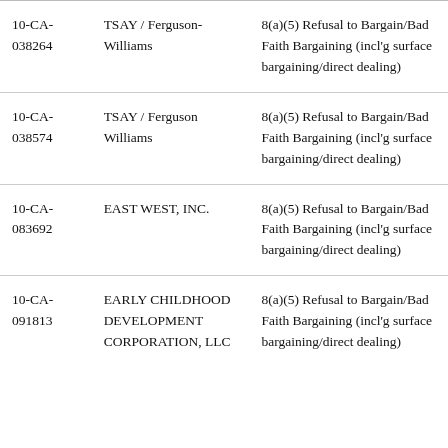| Case Number | Respondent | Allegation |
| --- | --- | --- |
| 10-CA-038264 | TSAY / Ferguson-Williams | 8(a)(5) Refusal to Bargain/Bad Faith Bargaining (incl'g surface bargaining/direct dealing) |
| 10-CA-038574 | TSAY / Ferguson Williams | 8(a)(5) Refusal to Bargain/Bad Faith Bargaining (incl'g surface bargaining/direct dealing) |
| 10-CA-083692 | EAST WEST, INC. | 8(a)(5) Refusal to Bargain/Bad Faith Bargaining (incl'g surface bargaining/direct dealing) |
| 10-CA-091813 | EARLY CHILDHOOD DEVELOPMENT CORPORATION, LLC | 8(a)(5) Refusal to Bargain/Bad Faith Bargaining (incl'g surface bargaining/direct dealing) |